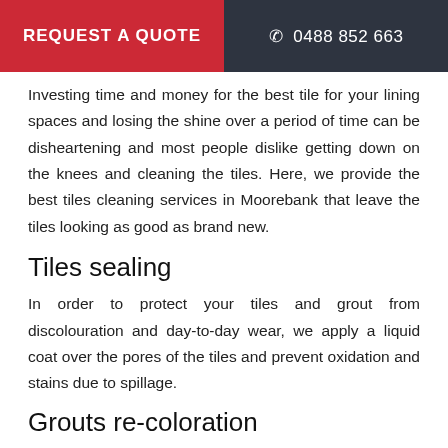REQUEST A QUOTE   ☎ 0488 852 663
Investing time and money for the best tile for your lining spaces and losing the shine over a period of time can be disheartening and most people dislike getting down on the knees and cleaning the tiles. Here, we provide the best tiles cleaning services in Moorebank that leave the tiles looking as good as brand new.
Tiles sealing
In order to protect your tiles and grout from discolouration and day-to-day wear, we apply a liquid coat over the pores of the tiles and prevent oxidation and stains due to spillage.
Grouts re-coloration